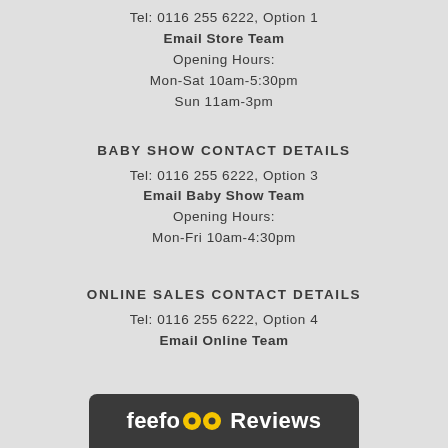Tel: 0116 255 6222, Option 1
Email Store Team
Opening Hours:
Mon-Sat 10am-5:30pm
Sun 11am-3pm
BABY SHOW CONTACT DETAILS
Tel: 0116 255 6222, Option 3
Email Baby Show Team
Opening Hours:
Mon-Fri 10am-4:30pm
ONLINE SALES CONTACT DETAILS
Tel: 0116 255 6222, Option 4
Email Online Team
[Figure (logo): Feefo Reviews bar with yellow eyes logo and white text on dark grey background]